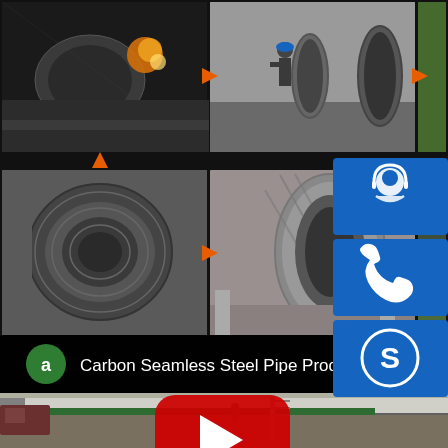[Figure (photo): Industrial steel pipe manufacturing facility photos arranged in a grid: top row shows (1) spirally welded steel pipe with sparks, (2) worker standing next to large pipe sections, (3) large diameter pipe being fabricated; bottom row shows (4) steel coil/roll material, (5) spiral welded pipe manufacturing process, (6) steel pipe in facility; orange arrows indicate process flow between images; three blue icon buttons on right side (customer support headset, phone, Skype); black title bar with green avatar 'a' and text 'Carbon Seamless Steel Pipe Producti...'; lower half shows video thumbnail of steel pipe manufacturing plant interior with Chinese text on green wall and YouTube play button]